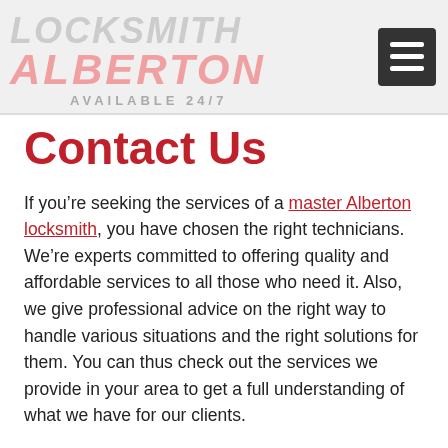LOCKSMITH ALBERTON AVAILABLE 24/7
Contact Us
If you’re seeking the services of a master Alberton locksmith, you have chosen the right technicians. We’re experts committed to offering quality and affordable services to all those who need it. Also, we give professional advice on the right way to handle various situations and the right solutions for them. You can thus check out the services we provide in your area to get a full understanding of what we have for our clients.
Most certainly you are here to hire specialists who can reliably provide all the solutions to your lock-related problems. Do not hesitate to go through our other pages on this website and we promise you that you’ll be impressed by the services and solutions that we offer. Whether...